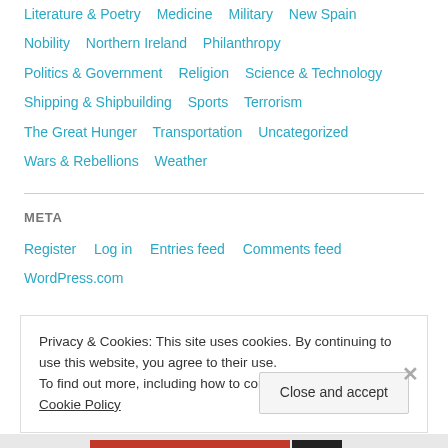Literature & Poetry   Medicine   Military   New Spain
Nobility   Northern Ireland   Philanthropy
Politics & Government   Religion   Science & Technology
Shipping & Shipbuilding   Sports   Terrorism
The Great Hunger   Transportation   Uncategorized
Wars & Rebellions   Weather
META
Register   Log in   Entries feed   Comments feed   WordPress.com
Privacy & Cookies: This site uses cookies. By continuing to use this website, you agree to their use.
To find out more, including how to control cookies, see here: Cookie Policy